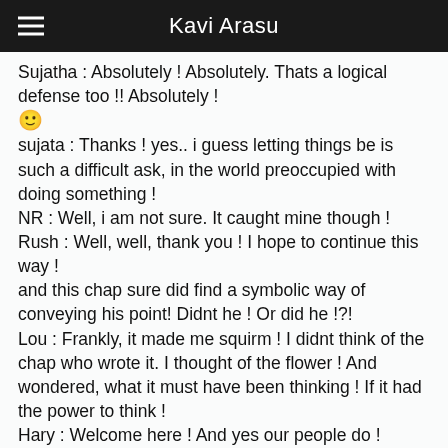Kavi Arasu
Sujatha : Absolutely ! Absolutely. Thats a logical defense too !! Absolutely ! 🙂
sujata : Thanks ! yes.. i guess letting things be is such a difficult ask, in the world preoccupied with doing something !
NR : Well, i am not sure. It caught mine though !
Rush : Well, well, thank you ! I hope to continue this way !
and this chap sure did find a symbolic way of conveying his point! Didnt he ! Or did he !?!
Lou : Frankly, it made me squirm ! I didnt think of the chap who wrote it. I thought of the flower ! And wondered, what it must have been thinking ! If it had the power to think !
Hary : Welcome here ! And yes our people do ! Indeed !